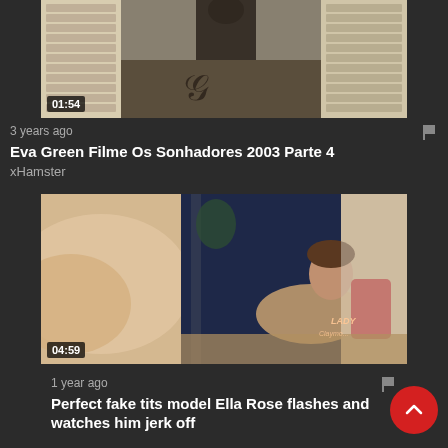[Figure (screenshot): Video thumbnail showing balcony/window scene with duration badge 01:54]
3 years ago
Eva Green Filme Os Sonhadores 2003 Parte 4
xHamster
[Figure (screenshot): Video thumbnail with duration badge 04:59 and LADY watermark]
1 year ago
Perfect fake tits model Ella Rose flashes and watches him jerk off